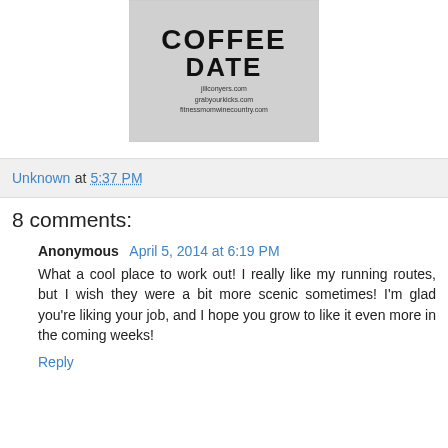[Figure (photo): Coffee date blog image with text 'COFFEE DATE' and URLs jillconyers.com, grabyourkicks.com, fitnessmomwinecountry.com]
Unknown at 5:37 PM
8 comments:
Anonymous  April 5, 2014 at 6:19 PM
What a cool place to work out! I really like my running routes, but I wish they were a bit more scenic sometimes! I'm glad you're liking your job, and I hope you grow to like it even more in the coming weeks!
Reply